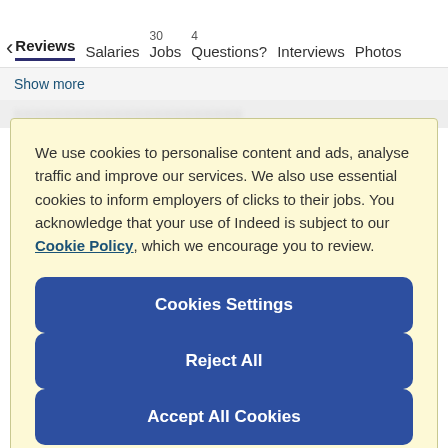< Reviews  Salaries  30 Jobs  4 Questions?  Interviews  Photos
Show more
We use cookies to personalise content and ads, analyse traffic and improve our services. We also use essential cookies to inform employers of clicks to their jobs. You acknowledge that your use of Indeed is subject to our Cookie Policy, which we encourage you to review.
Cookies Settings
Reject All
Accept All Cookies